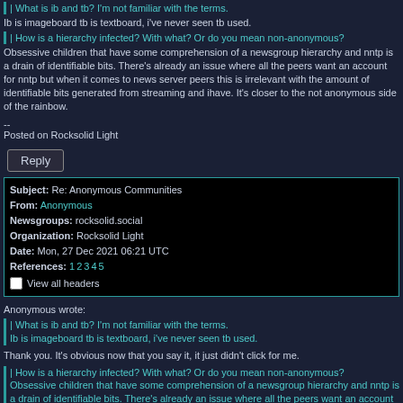| What is ib and tb? I'm not familiar with the terms.
Ib is imageboard tb is textboard, i've never seen tb used.
| How is a hierarchy infected? With what? Or do you mean non-anonymous?
Obsessive children that have some comprehension of a newsgroup hierarchy and nntp is a drain of identifiable bits. There's already an issue where all the peers want an account for nntp but when it comes to news server peers this is irrelevant with the amount of identifiable bits generated from streaming and ihave. It's closer to the not anonymous side of the rainbow.
--
Posted on Rocksolid Light
Reply
| Field | Value |
| --- | --- |
| Subject: | Re: Anonymous Communities |
| From: | Anonymous |
| Newsgroups: | rocksolid.social |
| Organization: | Rocksolid Light |
| Date: | Mon, 27 Dec 2021 06:21 UTC |
| References: | 1 2 3 4 5 |
Anonymous wrote:
| What is ib and tb? I'm not familiar with the terms.
Ib is imageboard tb is textboard, i've never seen tb used.
Thank you. It's obvious now that you say it, it just didn't click for me.
| How is a hierarchy infected? With what? Or do you mean non-anonymous?
Obsessive children that have some comprehension of a newsgroup hierarchy and nntp is a drain of identifiable bits. There's already an issue where all the peers want an account for nntp but when it comes to news server peers this is irrelevant with the amount of identifiable bits generated from streaming and ihave. It's closer to the not anonymous side of the rainbow.